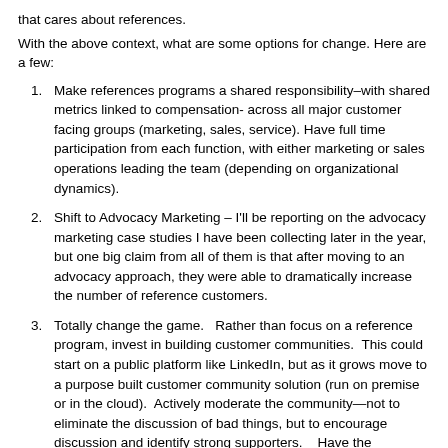that cares about references.
With the above context, what are some options for change.  Here are a few:
Make references programs a shared responsibility–with shared metrics linked to compensation- across all major customer facing groups (marketing, sales, service).  Have full time participation from each function, with either marketing or sales operations leading the team (depending on organizational dynamics).
Shift to Advocacy Marketing – I'll be reporting on the advocacy marketing case studies I have been collecting later in the year, but one big claim from all of them is that after moving to an advocacy approach, they were able to dramatically increase the number of reference customers.
Totally change the game.   Rather than focus on a reference program, invest in building customer communities.  This could start on a public platform like LinkedIn, but as it grows move to a purpose built customer community solution (run on premise or in the cloud).  Actively moderate the community—not to eliminate the discussion of bad things, but to encourage discussion and identify strong supporters.   Have the moderators own traditional reference responsibilities and goals, but allow them to focus more of their efforts in achieving the on going dialogue with community participants.  Transparency will...